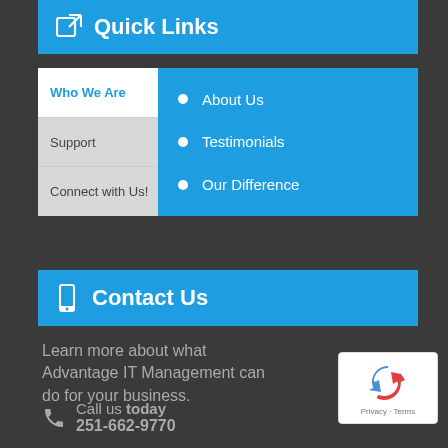Quick Links
Who We Are
Support
Connect with Us!
About Us
Testimonials
Our Difference
Contact Us
Learn more about what Advantage IT Management can do for your business.
Call us today
251-662-9770
[Figure (logo): Google reCAPTCHA badge with logo and Privacy/Terms text]